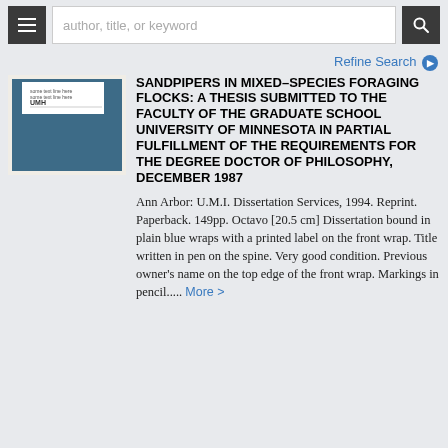author, title, or keyword
Refine Search
[Figure (photo): Book cover: a plain blue paperback dissertation bound in blue wraps with a printed white label on the front showing UMH logo and text]
SANDPIPERS IN MIXED-SPECIES FORAGING FLOCKS: A THESIS SUBMITTED TO THE FACULTY OF THE GRADUATE SCHOOL UNIVERSITY OF MINNESOTA IN PARTIAL FULFILLMENT OF THE REQUIREMENTS FOR THE DEGREE DOCTOR OF PHILOSOPHY, DECEMBER 1987
Ann Arbor: U.M.I. Dissertation Services, 1994. Reprint. Paperback. 149pp. Octavo [20.5 cm] Dissertation bound in plain blue wraps with a printed label on the front wrap. Title written in pen on the spine. Very good condition. Previous owner's name on the top edge of the front wrap. Markings in pencil..... More >